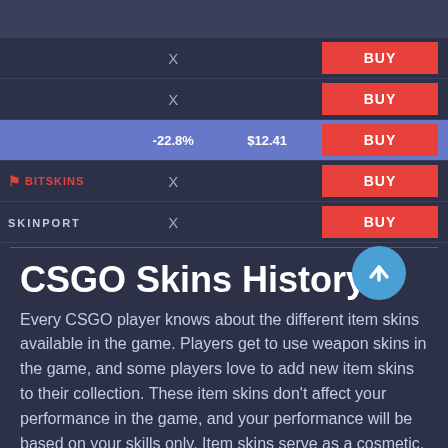|  | Discount | Price | Action |
| --- | --- | --- | --- |
|  | X |  | BUY |
|  | X |  | BUY |
|  | -22.8% | $12.41 | BUY |
| BITSKINS | X |  | BUY |
| SKINPORT | X |  | BUY |
CSGO Skins History
Every CSGO player knows about the different item skins available in the game. Players get to use weapon skins in the game, and some players love to add new item skins to their collection. These item skins don't affect your performance in the game, and your performance will be based on your skills only. Item skins serve as a cosmetic, and other players will notice you when you use a rare CSGO skin. Let's discuss how you can get